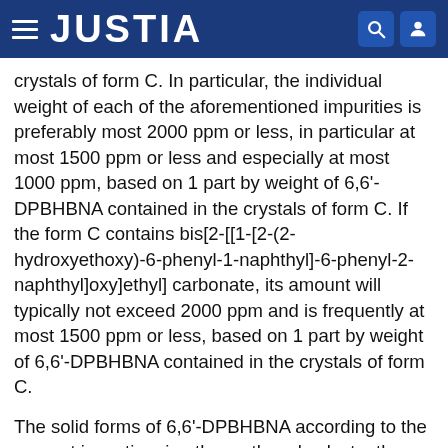JUSTIA
crystals of form C. In particular, the individual weight of each of the aforementioned impurities is preferably most 2000 ppm or less, in particular at most 1500 ppm or less and especially at most 1000 ppm, based on 1 part by weight of 6,6'-DPBHBNA contained in the crystals of form C. If the form C contains bis[2-[[1-[2-(2-hydroxyethoxy)-6-phenyl-1-naphthyl]-6-phenyl-2-naphthyl]oxy]ethyl] carbonate, its amount will typically not exceed 2000 ppm and is frequently at most 1500 ppm or less, based on 1 part by weight of 6,6'-DPBHBNA contained in the crystals of form C.
The solid forms of 6,6'-DPBHBNA according to the present invention, i.e. the methanol solvate, the toluene-solvate, the methyl ethyl ketone solvate and also the anhydrate form A as well the amorphous form B, will typically have a low yellowness index Y.I. of less than 3.0,